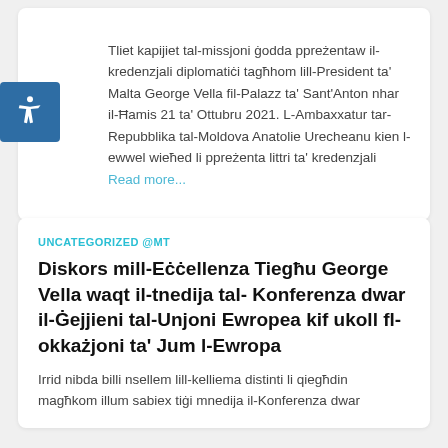Tliet kapijiet tal-missjoni ġodda ppreżentaw il-kredenzjali diplomatiċi tagħhom lill-President ta' Malta George Vella fil-Palazz ta' Sant'Anton nhar il-Ħamis 21 ta' Ottubru 2021. L-Ambaxxatur tar-Repubblika tal-Moldova Anatolie Urecheanu kien l-ewwel wieħed li ppreżenta littri ta' kredenzjali Read more...
UNCATEGORIZED @MT
Diskors mill-Eċċellenza Tiegħu George Vella waqt il-tnedija tal- Konferenza dwar il-Ġejjieni tal-Unjoni Ewropea kif ukoll fl-okkażjoni ta' Jum l-Ewropa
Irrid nibda billi nsellem lill-kelliema distinti li qiegħdin magħkom illum sabiex tiġi mnedija il-Konferenza dwar